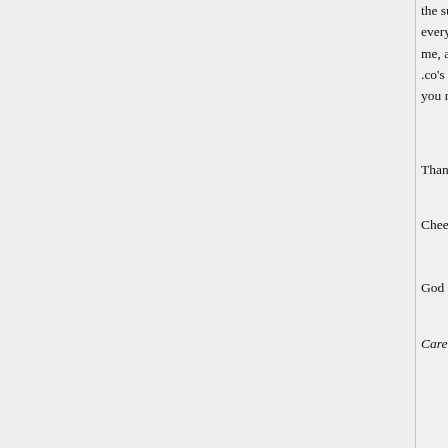the subtle little changes you make here, everything has stayed primarily the same for me, and it's not cluttered, commercial. .co's coming down a bit :). Service is you never spam me with junk or adve
Thanks for being the only online plac
Cheers to many more years!
God Bless
Caren O'Brien
Thanks for your help! I think this ticke

In case you don't hear it enough, you

Have a happy holiday season!

Alvin Cadonic
custompath.ca
Just a quick note of gratitude to the s up and running in little to no time.

Quick replies and an even quicker res for one stop shopping!

Ray Hubble